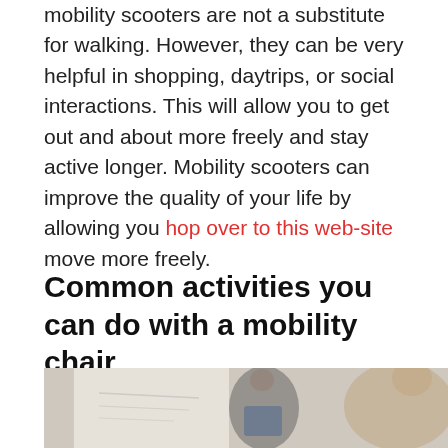mobility scooters are not a substitute for walking. However, they can be very helpful in shopping, daytrips, or social interactions. This will allow you to get out and about more freely and stay active longer. Mobility scooters can improve the quality of your life by allowing you hop over to this web-site move more freely.
Common activities you can do with a mobility chair
[Figure (photo): Photo showing people in a meeting or presentation setting — a person standing near a whiteboard and another person seated, both partially visible, blurred background.]